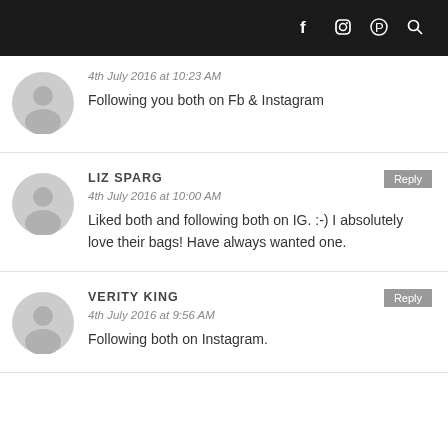Social media icons: Facebook, Instagram, Pinterest, Search
4th July 2016 at 10:23 AM
Following you both on Fb & Instagram
LIZ SPARG
4th July 2016 at 10:00 AM
Liked both and following both on IG. :-) I absolutely love their bags! Have always wanted one.
VERITY KING
4th July 2016 at 9:56 AM
Following both on Instagram.